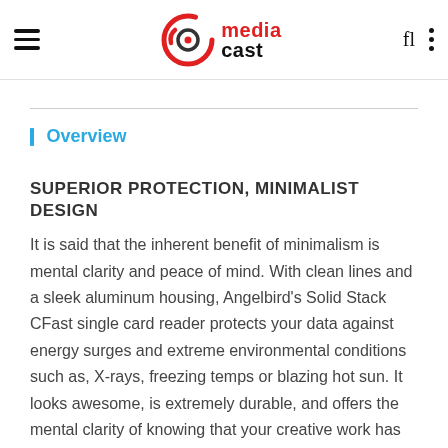media cast
Overview
SUPERIOR PROTECTION, MINIMALIST DESIGN
It is said that the inherent benefit of minimalism is mental clarity and peace of mind. With clean lines and a sleek aluminum housing, Angelbird's Solid Stack CFast single card reader protects your data against energy surges and extreme environmental conditions such as, X-rays, freezing temps or blazing hot sun. It looks awesome, is extremely durable, and offers the mental clarity of knowing that your creative work has rock-solid protection